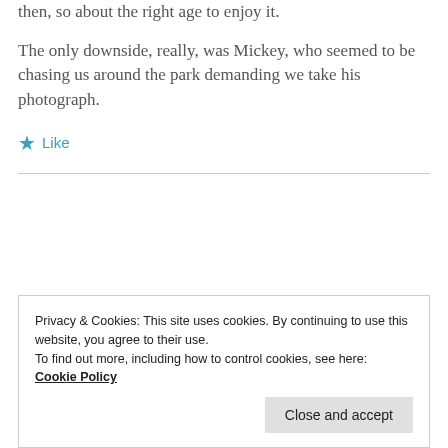then, so about the right age to enjoy it.
The only downside, really, was Mickey, who seemed to be chasing us around the park demanding we take his photograph.
★ Like
Privacy & Cookies: This site uses cookies. By continuing to use this website, you agree to their use.
To find out more, including how to control cookies, see here:
Cookie Policy
Close and accept